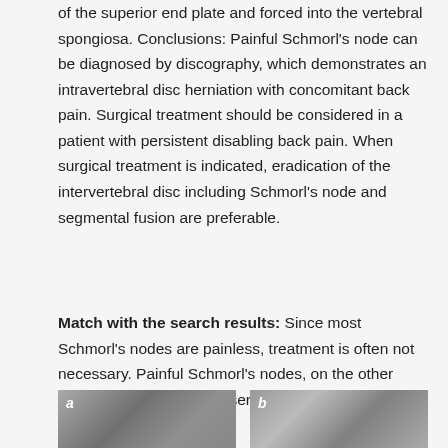of the superior end plate and forced into the vertebral spongiosa. Conclusions: Painful Schmorl's node can be diagnosed by discography, which demonstrates an intravertebral disc herniation with concomitant back pain. Surgical treatment should be considered in a patient with persistent disabling back pain. When surgical treatment is indicated, eradication of the intervertebral disc including Schmorl's node and segmental fusion are preferable.
Match with the search results: Since most Schmorl's nodes are painless, treatment is often not necessary. Painful Schmorl's nodes, on the other hand, can be treated conservatively with ……… read more
[Figure (photo): Two medical radiograph images side by side labeled 'a' and 'b', showing grayscale X-ray or imaging scans.]